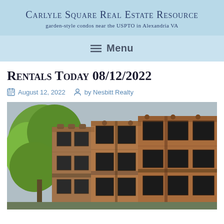Carlyle Square Real Estate Resource
gardn-style condos near the USPTO in Alexandria VA
Rentals Today 08/12/2022
August 12, 2022  by Nesbitt Realty
[Figure (photo): Exterior photo of brick townhouse/condo buildings with dark windows and green trees visible on the left side]